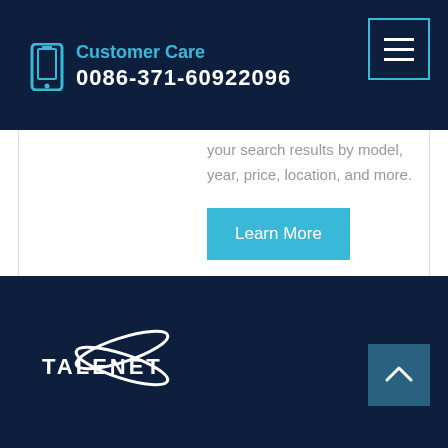Customer Care 0086-371-60922096
your search results by model, year, price, location, and more.
Learn More
[Figure (logo): TALENET company logo in white on dark navy background]
TALENET